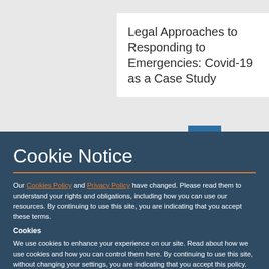Legal Approaches to Responding to Emergencies: Covid-19 as a Case Study
Cookie Notice
Our Cookies Policy and Privacy Policy have changed. Please read them to understand your rights and obligations, including how you can use our resources. By continuing to use this site, you are indicating that you accept these terms.
Cookies
We use cookies to enhance your experience on our site. Read about how we use cookies and how you can control them here. By continuing to use this site, without changing your settings, you are indicating that you accept this policy.
ACCEPT ALL COOKIES
SET PREFERENCES